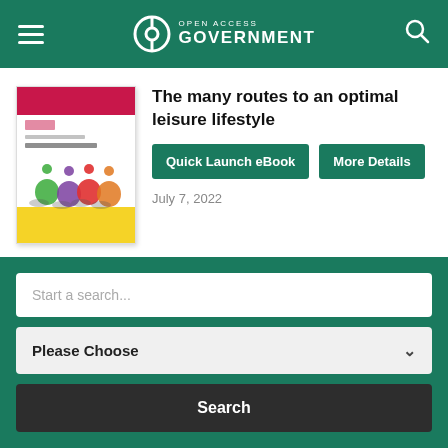Open Access Government
[Figure (illustration): Book cover for 'The many routes to an Optimal Leisure Lifestyle' showing cyclists in colorful silhouettes on a white/yellow background with a crimson top bar and University of Calgary logo.]
The many routes to an optimal leisure lifestyle
Quick Launch eBook
More Details
July 7, 2022
Start a search...
Please Choose
Search